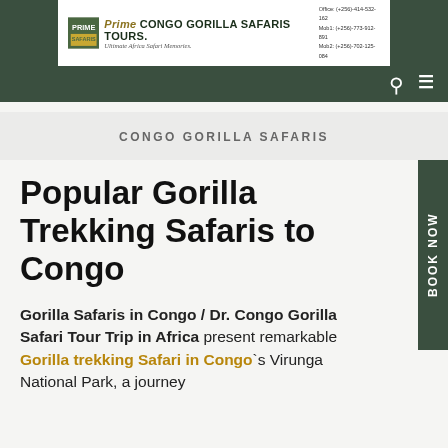[Figure (logo): Prime Congo Gorilla Safaris Tours logo banner with contact info: Office (+256) 414-532-162, Mob1 (+256) 773-912-891, Mob2 (+256) 702-125-084]
CONGO GORILLA SAFARIS
Popular Gorilla Trekking Safaris to Congo
Gorilla Safaris in Congo / Dr. Congo Gorilla Safari Tour Trip in Africa present remarkable Gorilla trekking Safari in Congo`s Virunga National Park, a journey